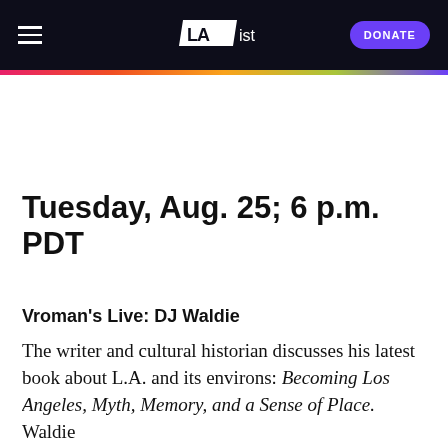LAist — DONATE
Tuesday, Aug. 25; 6 p.m. PDT
Vroman's Live: DJ Waldie
The writer and cultural historian discusses his latest book about L.A. and its environs: Becoming Los Angeles, Myth, Memory, and a Sense of Place. Waldie...